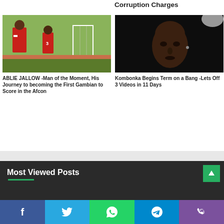Corruption Charges
[Figure (photo): Football players in red jerseys on a field with a goal in the background]
ABLIE JALLOW -Man of the Moment, His Journey to becoming the First Gambian to Score in the Afcon
[Figure (photo): Close-up portrait of a person with a serious expression against a dark background]
Kombonka Begins Term on a Bang -Lets Off 3 Videos in 11 Days
Most Viewed Posts
Facebook | Twitter | WhatsApp | Telegram | Viber